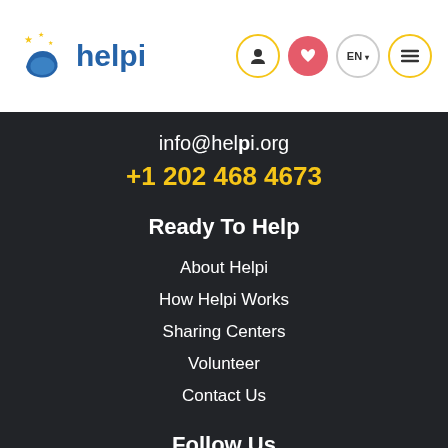[Figure (logo): Helpi logo with a hand and stars icon in blue and yellow, with the text 'helpi' in blue]
info@helpi.org
+1 202 468 4673
Ready To Help
About Helpi
How Helpi Works
Sharing Centers
Volunteer
Contact Us
Follow Us